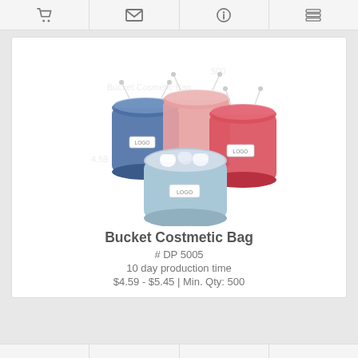Navigation bar with cart, email, info, and list icons
[Figure (photo): Four drawstring bucket cosmetic bags in blue, pink, light blue/open, and red colors, with LOGO labels on each]
Bucket Costmetic Bag
# DP 5005
10 day production time
$4.59 - $5.45 | Min. Qty: 500
Bottom navigation bar